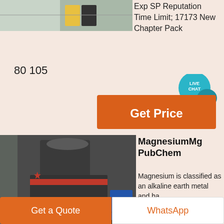[Figure (photo): Industrial equipment/facility photo at top left]
Exp SP Reputation Time Limit; 17173 New Chapter Pack
80 105
[Figure (other): Orange Get Price button with Live Chat bubble]
[Figure (photo): Large industrial vertical shaft impact crusher machine in warehouse]
MagnesiumMg PubChem
Magnesium is classified as an alkaline earth metal and ha hydration she. The element can be found in abundance in the hydrosphere and in mineral salts such
[Figure (other): Scroll-up circular button]
[Figure (other): Get a Quote orange button]
[Figure (other): WhatsApp white button]